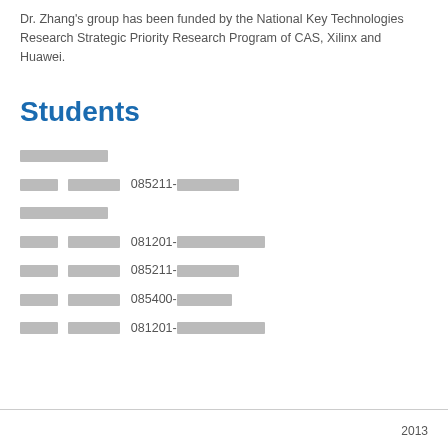Dr. Zhang's group has been funded by the National Key Technologies Research Strategic Priority Research Program of CAS, Xilinx and Huawei.
Students
[redacted] [redacted]
[redacted] [redacted] 085211-[redacted]
[redacted] [redacted]
[redacted] [redacted] 081201-[redacted]
[redacted] [redacted] 085211-[redacted]
[redacted] [redacted] 085400-[redacted]
[redacted] [redacted] 081201-[redacted]
2013